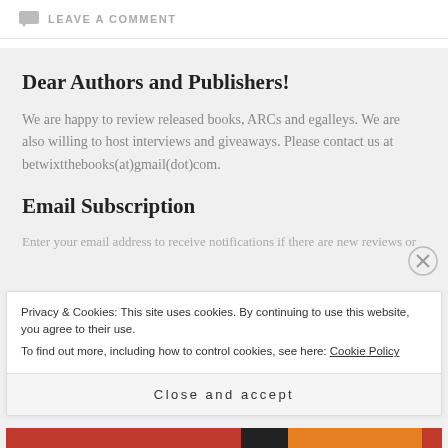LEAVE A COMMENT
Dear Authors and Publishers!
We are happy to review released books, ARCs and egalleys. We are also willing to host interviews and giveaways. Please contact us at betwixtthebooks(at)gmail(dot)com.
Email Subscription
Privacy & Cookies: This site uses cookies. By continuing to use this website, you agree to their use.
To find out more, including how to control cookies, see here: Cookie Policy
Close and accept